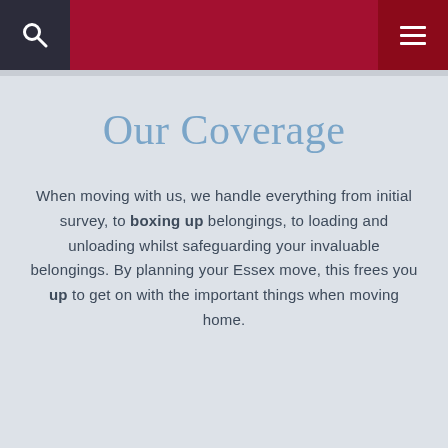Our Coverage
When moving with us, we handle everything from initial survey, to boxing up belongings, to loading and unloading whilst safeguarding your invaluable belongings. By planning your Essex move, this frees you up to get on with the important things when moving home.